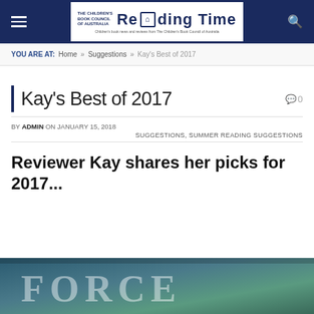THE CHILDREN'S BOOK COUNCIL OF AUSTRALIA — READING TIME — Children's book news and reviews from The Children's Book Council of Australia
YOU ARE AT: Home » Suggestions » Kay's Best of 2017
Kay's Best of 2017
BY ADMIN ON JANUARY 15, 2018
SUGGESTIONS, SUMMER READING SUGGESTIONS
Reviewer Kay shares her picks for 2017...
[Figure (photo): Partial book cover image showing the word FORCE in large stylized letters against a dark teal/blue atmospheric background]